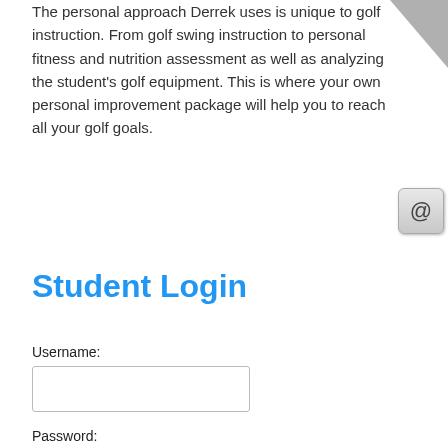The personal approach Derrek uses is unique to golf instruction. From golf swing instruction to personal fitness and nutrition assessment as well as analyzing the student's golf equipment. This is where your own personal improvement package will help you to reach all your golf goals.
[Figure (screenshot): Email/at symbol button icon in upper right corner]
Student Login
Username:
[Figure (screenshot): Username text input field]
Password:
[Figure (screenshot): Password text input field]
[Figure (screenshot): Login and Cancel buttons]
[Figure (illustration): Circle icon in bottom right corner]